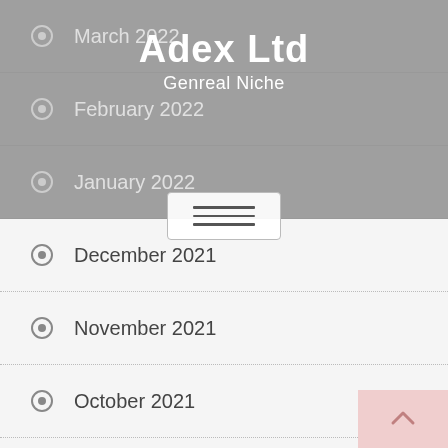Adex Ltd
Genreal Niche
March 2022
February 2022
January 2022
December 2021
November 2021
October 2021
September 2021
August 2021
July 2021
June 2021